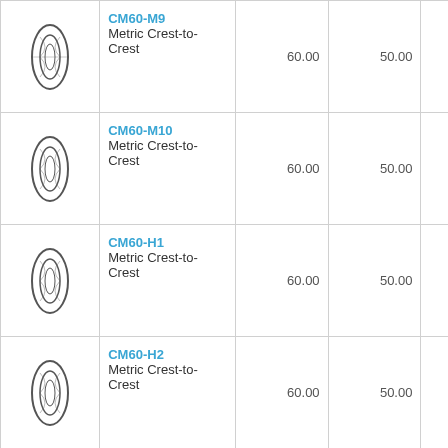| Image | Name/Type | Col1 | Col2 | Col3 | Col4 | Col5 |
| --- | --- | --- | --- | --- | --- | --- |
| [coil image] | CM60-M9
Metric Crest-to-Crest | 60.00 | 50.00 | 275 | 28.78 | 49 |
| [coil image] | CM60-M10
Metric Crest-to-Crest | 60.00 | 50.00 | 275 | 33.22 | 57 |
| [coil image] | CM60-H1
Metric Crest-to-Crest | 60.00 | 50.00 | 450 | 7.75 | 11 |
| [coil image] | CM60-H2
Metric Crest-to-Crest | 60.00 | 50.00 | 450 | 10.31 | 15 |